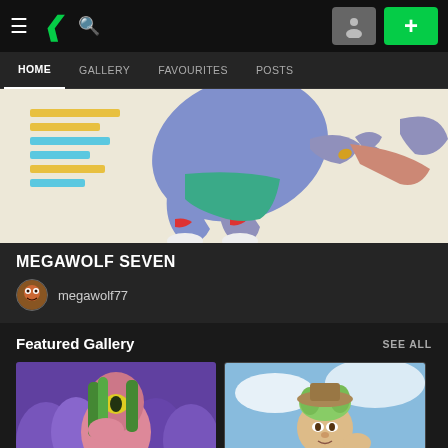DeviantArt navigation bar with hamburger menu, logo, search, user icon, and plus button
HOME | GALLERY | FAVOURITES | POSTS
[Figure (illustration): Anime-style illustration of a blue wolf/anthro character in midair, wearing red wristbands and teal shorts, against a cream background with colored stripes]
MEGAWOLF SEVEN
megawolf77
Featured Gallery
SEE ALL
[Figure (illustration): Digital art of a pink alien/creature holding green tubes, with purple foliage background]
[Figure (illustration): Digital art of a green-haired anthropomorphic character with a hat, against a blue sky background]